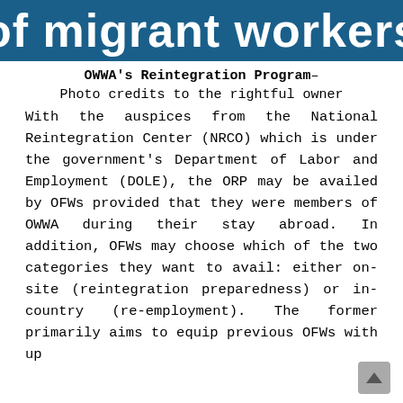of migrant workers
OWWA's Reintegration Program– Photo credits to the rightful owner
With the auspices from the National Reintegration Center (NRCO) which is under the government's Department of Labor and Employment (DOLE), the ORP may be availed by OFWs provided that they were members of OWWA during their stay abroad. In addition, OFWs may choose which of the two categories they want to avail: either on-site (reintegration preparedness) or in-country (re-employment). The former primarily aims to equip previous OFWs with up